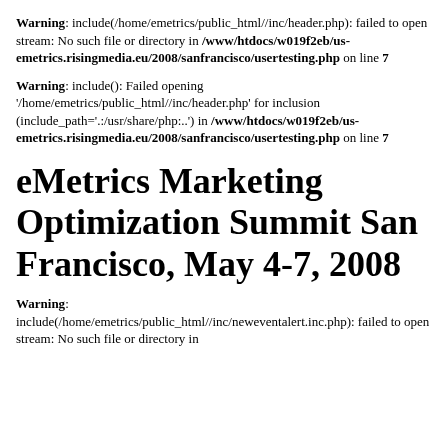Warning: include(/home/emetrics/public_html//inc/header.php): failed to open stream: No such file or directory in /www/htdocs/w019f2eb/us-emetrics.risingmedia.eu/2008/sanfrancisco/usertesting.php on line 7
Warning: include(): Failed opening '/home/emetrics/public_html//inc/header.php' for inclusion (include_path='.:/usr/share/php:..') in /www/htdocs/w019f2eb/us-emetrics.risingmedia.eu/2008/sanfrancisco/usertesting.php on line 7
eMetrics Marketing Optimization Summit San Francisco, May 4-7, 2008
Warning: include(/home/emetrics/public_html//inc/neweventalert.inc.php): failed to open stream: No such file or directory in